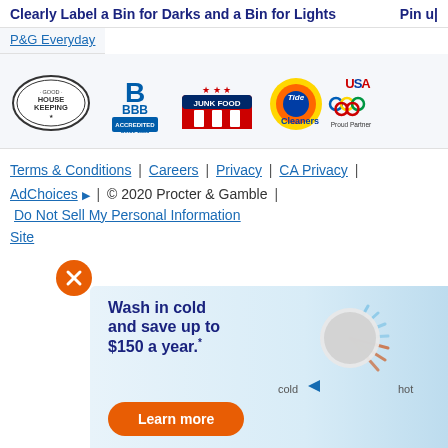Clearly Label a Bin for Darks and a Bin for Lights   Pin up
P&G Everyday
[Figure (logo): Row of partner/certification logos: Good Housekeeping seal, BBB Accredited Business, Junk Food logo, Tide Cleaners USA Proud Partner (Olympic rings)]
Terms & Conditions | Careers | Privacy | CA Privacy | AdChoices ▷ | © 2020 Procter & Gamble |
Do Not Sell My Personal Information
Site
[Figure (photo): Advertisement banner: orange close button (X), text 'Wash in cold and save up to $150 a year.' with Learn more button, and a washing machine temperature dial showing cold to hot range with a hand turning it.]